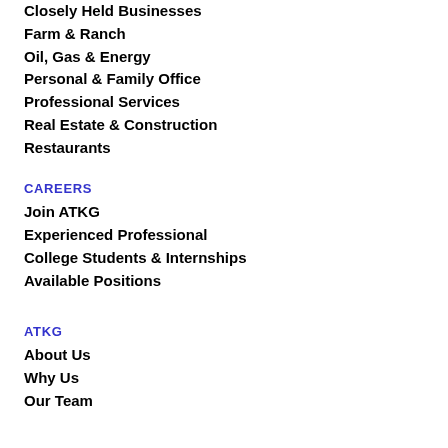Closely Held Businesses
Farm & Ranch
Oil, Gas & Energy
Personal & Family Office
Professional Services
Real Estate & Construction
Restaurants
CAREERS
Join ATKG
Experienced Professional
College Students & Internships
Available Positions
ATKG
About Us
Why Us
Our Team